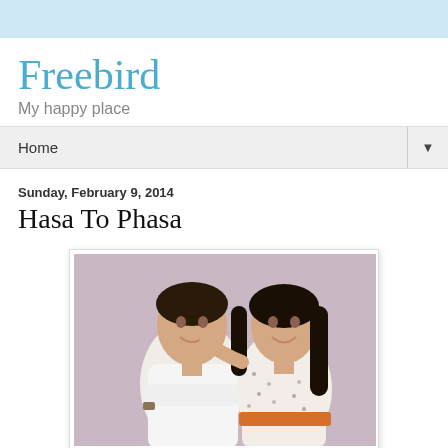Freebird
My happy place
Home ▼
Sunday, February 9, 2014
Hasa To Phasa
[Figure (photo): A young man and woman posing together against a light purple/mauve background. The man is on the left wearing a white long-sleeve shirt with arms crossed, smiling. The woman is on the right wearing a floral/patterned top with an orange belt, smiling, with long dark hair.]